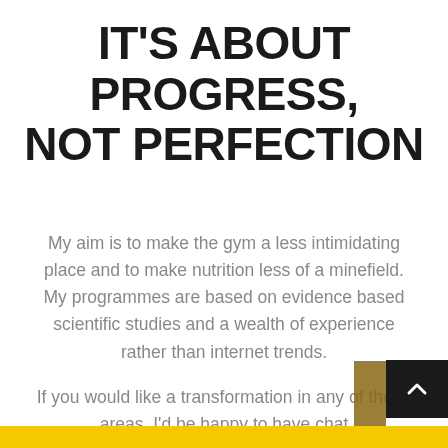IT'S ABOUT PROGRESS, NOT PERFECTION
My aim is to make the gym a less intimidating place and to make nutrition less of a minefield. My programmes are based on evidence based scientific studies and a wealth of experience rather than internet trends.
If you would like a transformation in any of these areas, I'd be happy to have chat